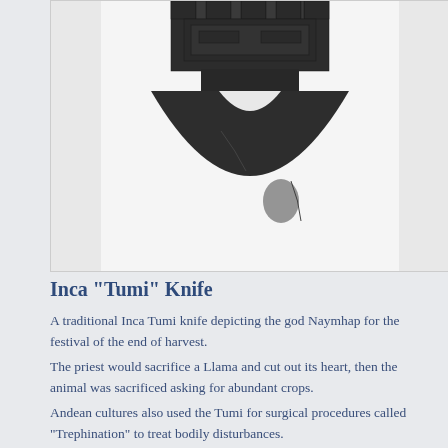[Figure (photo): Close-up photograph of a dark metal Inca Tumi knife, showing the semicircular blade and decorated rectangular handle with geometric patterns, against a white/light gray background.]
Inca "Tumi" Knife
A traditional Inca Tumi knife depicting the god Naymhap for the festival of the end of harvest.
The priest would sacrifice a Llama and cut out its heart, then the animal was sacrificed asking for abundant crops.
Andean cultures also used the Tumi for surgical procedures called "Trephination" to treat bodily disturbances.
Various civilisations used trephination to treat head wounds to